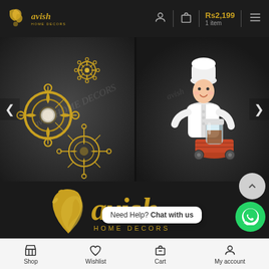avish HOME DECORS | Rs2,199 1 item
[Figure (photo): Two-panel product image carousel showing: left panel - gold/brass decorative mandala-style connectors/jewelry components on dark background with Cavish watermark; right panel - white chef figurine holding glass condiment jar on dark background with avish watermark. Navigation arrows on left and right sides.]
[Figure (logo): Avish Home Decors logo - golden silhouette of woman's face profile with decorative hair, text 'avish HOME DECORS' in gold on dark background]
Need Help? Chat with us
Shop | Wishlist | Cart | My account